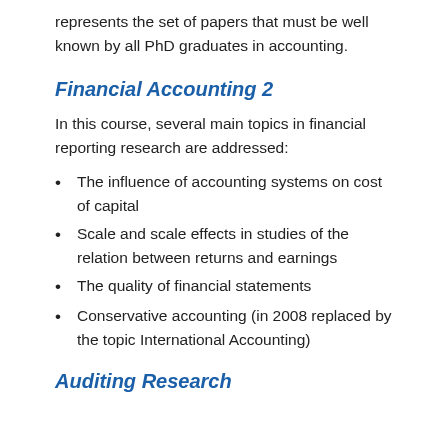represents the set of papers that must be well known by all PhD graduates in accounting.
Financial Accounting 2
In this course, several main topics in financial reporting research are addressed:
The influence of accounting systems on cost of capital
Scale and scale effects in studies of the relation between returns and earnings
The quality of financial statements
Conservative accounting (in 2008 replaced by the topic International Accounting)
Auditing Research